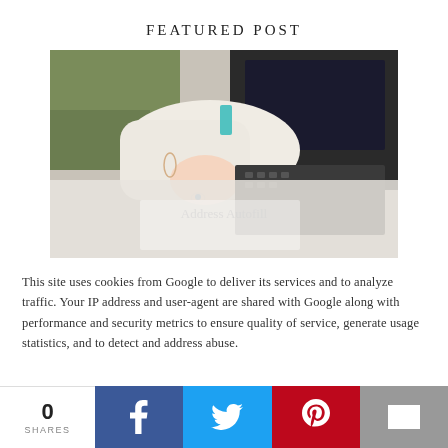FEATURED POST
[Figure (photo): Person in white sweater with painted fingernails using a laptop or device, partially obscured by a translucent cookie consent overlay]
This site uses cookies from Google to deliver its services and to analyze traffic. Your IP address and user-agent are shared with Google along with performance and security metrics to ensure quality of service, generate usage statistics, and to detect and address abuse.
0 SHARES